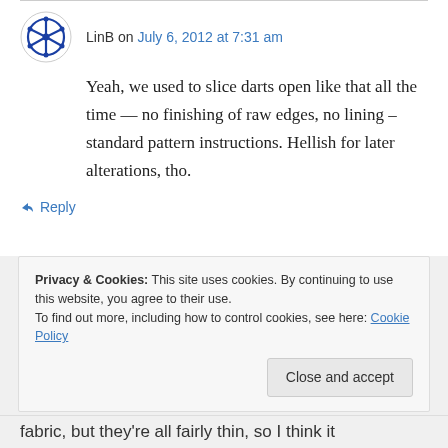LinB on July 6, 2012 at 7:31 am
Yeah, we used to slice darts open like that all the time — no finishing of raw edges, no lining – standard pattern instructions. Hellish for later alterations, tho.
↳ Reply
Privacy & Cookies: This site uses cookies. By continuing to use this website, you agree to their use. To find out more, including how to control cookies, see here: Cookie Policy
Close and accept
fabric, but they're all fairly thin, so I think it